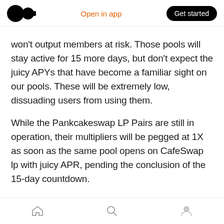Medium logo | Open in app | Get started
won't output members at risk. Those pools will stay active for 15 more days, but don't expect the juicy APYs that have become a familiar sight on our pools. These will be extremely low, dissuading users from using them.
While the Pankcakeswap LP Pairs are still in operation, their multipliers will be pegged at 1X as soon as the same pool opens on CafeSwap lp with juicy APR, pending the conclusion of the 15-day countdown.
When the 15 days provided elapse, these LP pools
Home | Search | Profile